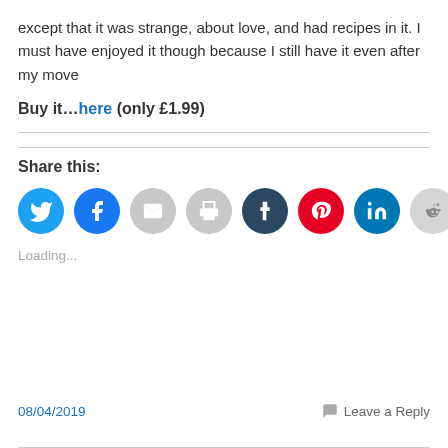except that it was strange, about love, and had recipes in it. I must have enjoyed it though because I still have it even after my move
Buy it…here (only £1.99)
[Figure (infographic): Row of social share icon buttons: Twitter (blue), Facebook (blue), Email (grey), Print (grey), Tumblr (dark navy), Pinterest (red), LinkedIn (teal/blue), Reddit (light grey)]
Loading...
08/04/2019
Leave a Reply